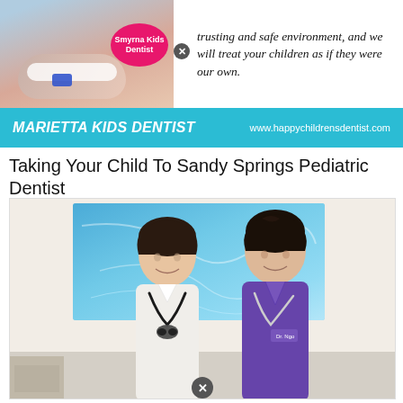[Figure (photo): Advertisement photo of a child at dental office with a pink circular badge reading 'Smyrna Kids Dentist', with a close/X icon and italicized tagline text: 'trusting and safe environment, and we will treat your children as if they were our own.']
trusting and safe environment, and we will treat your children as if they were our own.
[Figure (infographic): Teal/cyan horizontal banner advertising 'MARIETTA KIDS DENTIST' with website www.happychildrensdentist.com]
Taking Your Child To Sandy Springs Pediatric Dentist
[Figure (photo): Photo of two female dentists/dental professionals smiling together in a dental office. The person on the left wears a white lab coat with a dental loupes headpiece around their neck. The person on the right wears purple scrubs with a stethoscope. Behind them is a blue abstract painting on the wall.]